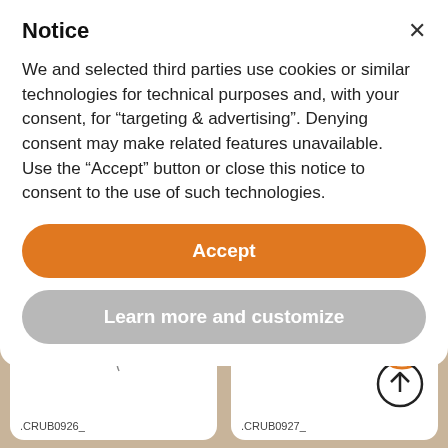Notice
We and selected third parties use cookies or similar technologies for technical purposes and, with your consent, for “targeting & advertising”. Denying consent may make related features unavailable.
Use the “Accept” button or close this notice to consent to the use of such technologies.
Accept
Learn more and customize
[Figure (screenshot): Two product card thumbnails partially visible at bottom: left card (.CRUB0926_) shows a curved line element on white background; right card (.CRUB0927_) shows an orange info circle icon and a black up-arrow circle icon on white background.]